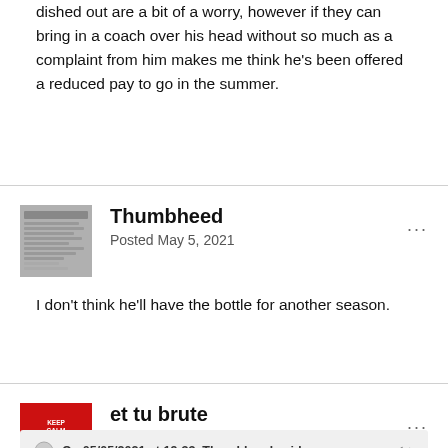dished out are a bit of a worry, however if they can bring in a coach over his head without so much as a complaint from him makes me think he's been offered a reduced pay to go in the summer.
Thumbheed
Posted May 5, 2021
I don't think he'll have the bottle for another season.
et tu brute
Posted May 5, 2021
On 05/05/2021 at 19:33, Thumbheed said:
I don't think he'll have the bottle for another season.